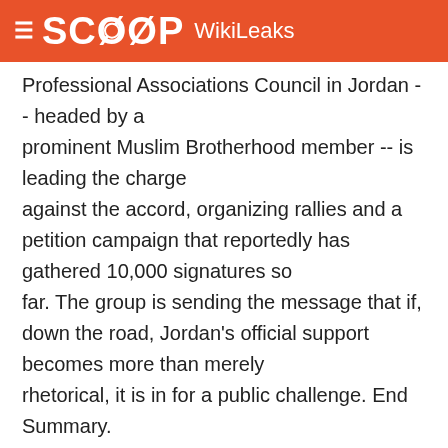SCOOP WikiLeaks
Professional Associations Council in Jordan -- headed by a prominent Muslim Brotherhood member -- is leading the charge against the accord, organizing rallies and a petition campaign that reportedly has gathered 10,000 signatures so far. The group is sending the message that if, down the road, Jordan's official support becomes more than merely rhetorical, it is in for a public challenge. End Summary.
----------------------------------------------- -----
OPPOSITION: NO COMPROMISE ON RIGHT OF RETURN,